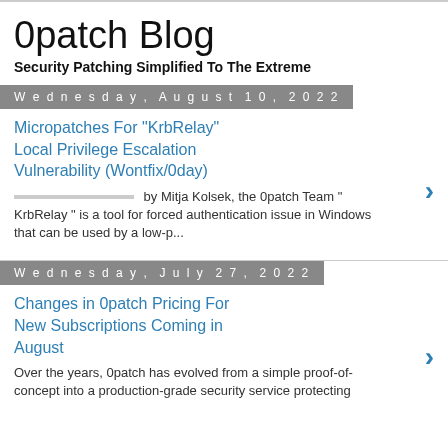0patch Blog
Security Patching Simplified To The Extreme
Wednesday, August 10, 2022
Micropatches For "KrbRelay" Local Privilege Escalation Vulnerability (Wontfix/0day)
by Mitja Kolsek, the 0patch Team " KrbRelay " is a tool for forced authentication issue in Windows that can be used by a low-p...
Wednesday, July 27, 2022
Changes in 0patch Pricing For New Subscriptions Coming in August
Over the years, 0patch has evolved from a simple proof-of-concept into a production-grade security service protecting